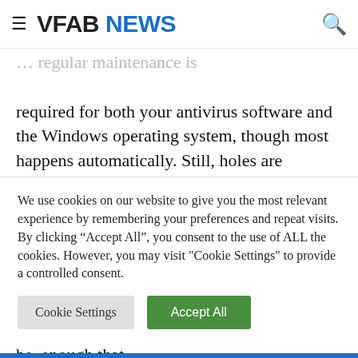VFAB NEWS
completed but most actually starts as soon as you [partial] ... regular maintenance is required for both your antivirus software and the Windows operating system, though most happens automatically. Still, holes are constantly being discovered, such as the Meltdown/Spectre vulnerabilities, as well as the more recent Foreshadow/L1TF exploit. You have to be vigilant, or at least not too lazy, to protect your Windows PC. Fortunately, Windows' built-in Windows Defender software is far better than it used to be, enough that
We use cookies on our website to give you the most relevant experience by remembering your preferences and repeat visits. By clicking “Accept All”, you consent to the use of ALL the cookies. However, you may visit "Cookie Settings" to provide a controlled consent.